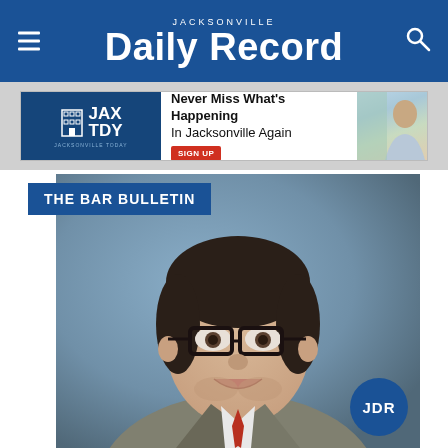JACKSONVILLE Daily Record
[Figure (infographic): JAX TDY advertisement banner: Never Miss What's Happening In Jacksonville Again. Sign Up button.]
THE BAR BULLETIN
[Figure (photo): Professional headshot of a man wearing glasses, a gray suit, white shirt, and red tie, smiling at the camera. Blue-gray background.]